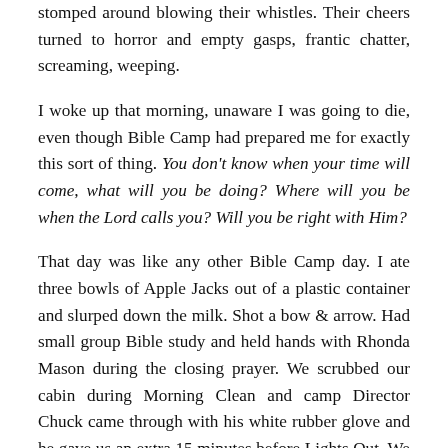stomped around blowing their whistles. Their cheers turned to horror and empty gasps, frantic chatter, screaming, weeping.
I woke up that morning, unaware I was going to die, even though Bible Camp had prepared me for exactly this sort of thing. You don't know when your time will come, what will you be doing? Where will you be when the Lord calls you? Will you be right with Him?
That day was like any other Bible Camp day. I ate three bowls of Apple Jacks out of a plastic container and slurped down the milk. Shot a bow & arrow. Had small group Bible study and held hands with Rhonda Mason during the closing prayer. We scrubbed our cabin during Morning Clean and camp Director Chuck came through with his white rubber glove and he gave us an extra 15 minutes before Lights Out. We played a softball game. Had another Bible study. I watched Jason Reed demonstrate his swimming...